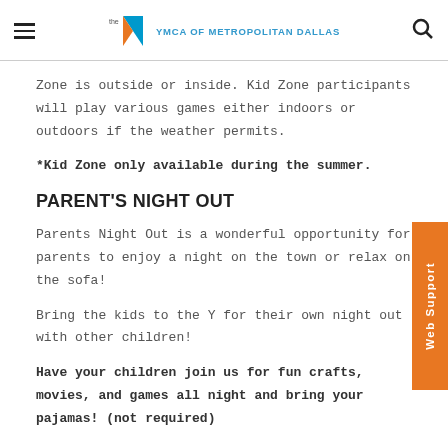YMCA OF METROPOLITAN DALLAS
Zone is outside or inside. Kid Zone participants will play various games either indoors or outdoors if the weather permits.
*Kid Zone only available during the summer.
PARENT'S NIGHT OUT
Parents Night Out is a wonderful opportunity for parents to enjoy a night on the town or relax on the sofa!
Bring the kids to the Y for their own night out with other children!
Have your children join us for fun crafts, movies, and games all night and bring your pajamas! (not required)